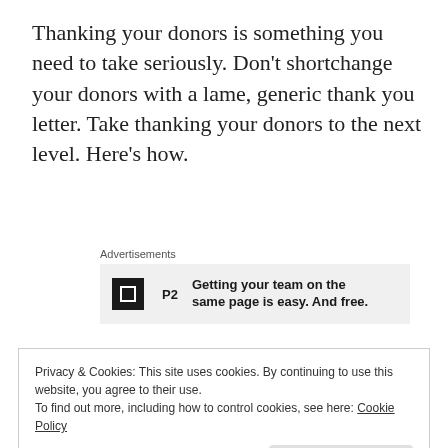Thanking your donors is something you need to take seriously. Don't shortchange your donors with a lame, generic thank you letter. Take thanking your donors to the next level. Here's how.
Advertisements
[Figure (other): Advertisement banner with P2 logo and text: Getting your team on the same page is easy. And free.]
Start planning now
Privacy & Cookies: This site uses cookies. By continuing to use this website, you agree to their use. To find out more, including how to control cookies, see here: Cookie Policy
handwritten note or phone call. Can you do